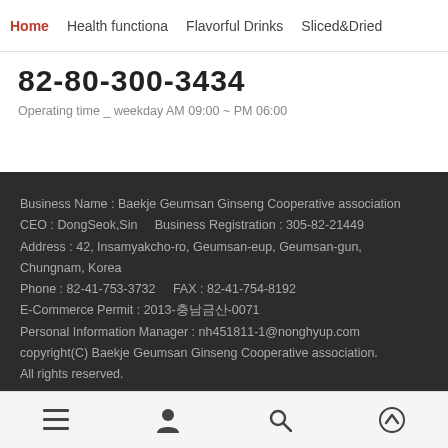Home  Health functiona  Flavorful Drinks  Sliced&Dried
82-80-300-3434
Operating time _ weekday AM 09:00 ~ PM 06:00
Business Name : Baekje Geumsan Ginseng Cooperative association
CEO : DongSeok,Sin    Business Registration : 305-82-21449
Address : 42, Insamyakcho-ro, Geumsan-eup, Geumsan-gun, Chungnam, Korea
Phone : 82-41-753-3732    FAX : 82-41-754-8192
E-Commerce Permit : 2013-충남금산-0071
Personal Information Manager : nh451811-1@nonghyup.com
copyright(C) Baekje Geumsan Ginseng Cooperative association. All rights reserved.